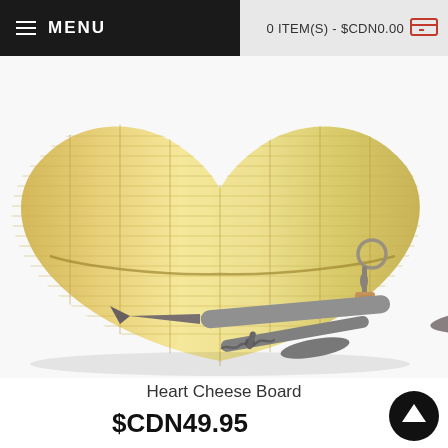MENU   0 ITEM(S) - $CDN0.00
[Figure (photo): Heart-shaped bamboo cheese board with wine accessories including a corkscrew/waiter's knife and a wine bottle stopper with cork, displayed on a white background]
Heart Cheese Board
$CDN49.95